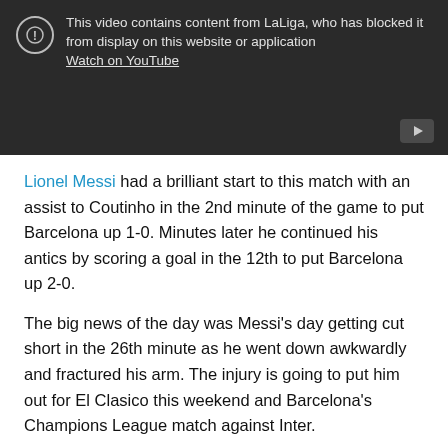[Figure (screenshot): YouTube video blocked message. Shows a circle with exclamation mark icon and text: 'This video contains content from LaLiga, who has blocked it from display on this website or application. Watch on YouTube'. YouTube play button icon in bottom-right corner.]
Lionel Messi had a brilliant start to this match with an assist to Coutinho in the 2nd minute of the game to put Barcelona up 1-0. Minutes later he continued his antics by scoring a goal in the 12th to put Barcelona up 2-0.
The big news of the day was Messi's day getting cut short in the 26th minute as he went down awkwardly and fractured his arm. The injury is going to put him out for El Clasico this weekend and Barcelona's Champions League match against Inter.
On the other side, Ever Banega played all 90 for Sevilla and had a solid day finishing with an 88% pass success (68 of 77) and four key passes. Barcelona came away with the three points...